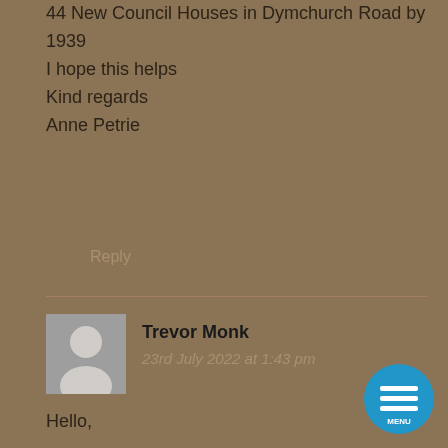44 New Council Houses in Dymchurch Road by 1939
I hope this helps
Kind regards
Anne Petrie
Reply
Trevor Monk
23rd July 2022 at 1:43 pm
Hello,

I discovered a while back with the help of DNA that my biological great grandfather was the former Mayor of Hythe a certain Thomas Collis Judge who died whilst in office in 1886. I have been able to find out quite about him but have been unable to find where buried. I know from the reports of his death and his